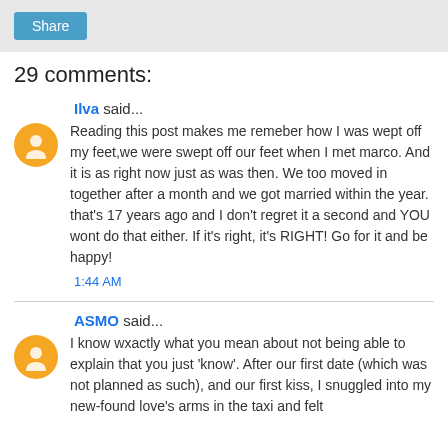[Figure (other): Share button in grey bar]
29 comments:
Ilva said...
Reading this post makes me remeber how I was wept off my feet,we were swept off our feet when I met marco. And it is as right now just as was then. We too moved in together after a month and we got married within the year. that's 17 years ago and I don't regret it a second and YOU wont do that either. If it's right, it's RIGHT! Go for it and be happy!
1:44 AM
ASMO said...
I know wxactly what you mean about not being able to explain that you just 'know'. After our first date (which was not planned as such), and our first kiss, I snuggled into my new-found love's arms in the taxi and felt